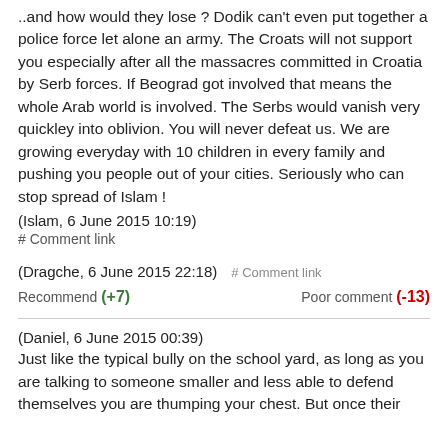..and how would they lose ? Dodik can't even put together a police force let alone an army. The Croats will not support you especially after all the massacres committed in Croatia by Serb forces. If Beograd got involved that means the whole Arab world is involved. The Serbs would vanish very quickley into oblivion. You will never defeat us. We are growing everyday with 10 children in every family and pushing you people out of your cities. Seriously who can stop spread of Islam !
(Islam, 6 June 2015 10:19)
# Comment link
(Dragche, 6 June 2015 22:18)   # Comment link
Recommend (+7)   Poor comment (-13)
(Daniel, 6 June 2015 00:39)
Just like the typical bully on the school yard, as long as you are talking to someone smaller and less able to defend themselves you are thumping your chest. But once their